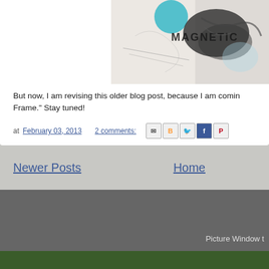[Figure (photo): Artwork/mixed media image with text 'MAGNETIC', teal circle, charcoal marks on white background, partially cropped at top of page]
But now, I am revising this older blog post, because I am comin Frame." Stay tuned!
at February 03, 2013    2 comments:
Newer Posts    Home
Subscribe to: Posts (Atom)
Picture Window t